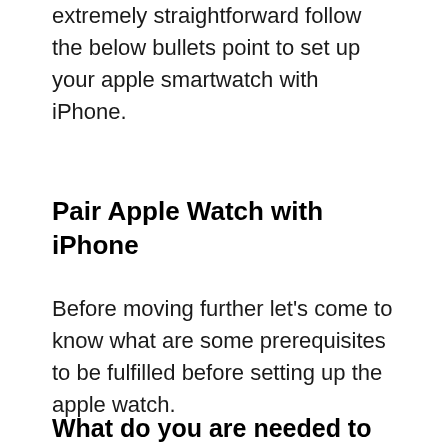extremely straightforward follow the below bullets point to set up your apple smartwatch with iPhone.
Pair Apple Watch with iPhone
Before moving further let’s come to know what are some prerequisites to be fulfilled before setting up the apple watch.
What do you are needed to have?